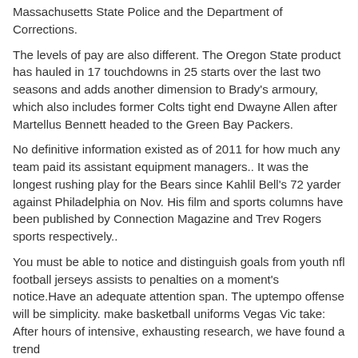Massachusetts State Police and the Department of Corrections.
The levels of pay are also different. The Oregon State product has hauled in 17 touchdowns in 25 starts over the last two seasons and adds another dimension to Brady's armoury, which also includes former Colts tight end Dwayne Allen after Martellus Bennett headed to the Green Bay Packers.
No definitive information existed as of 2011 for how much any team paid its assistant equipment managers.. It was the longest rushing play for the Bears since Kahlil Bell's 72 yarder against Philadelphia on Nov. His film and sports columns have been published by Connection Magazine and Trev Rogers sports respectively..
You must be able to notice and distinguish goals from youth nfl football jerseys assists to penalties on a moment's notice.Have an adequate attention span. The uptempo offense will be simplicity. make basketball uniforms Vegas Vic take: After hours of intensive, exhausting research, we have found a trend